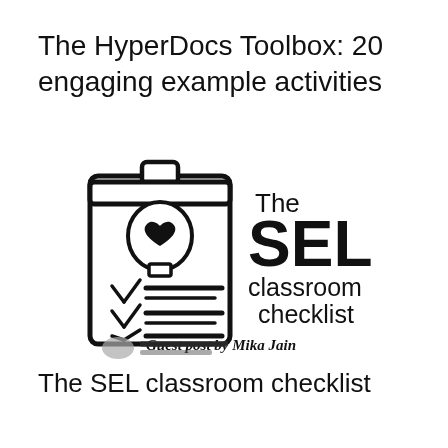The HyperDocs Toolbox: 20 engaging example activities
[Figure (logo): The SEL classroom checklist logo: clipboard illustration with a head/heart icon and checklist items, text reading 'The SEL classroom checklist', subtext 'Guest post by Mika Jain']
[Figure (logo): Partially visible blurred logo strip at bottom of image area]
The SEL classroom checklist